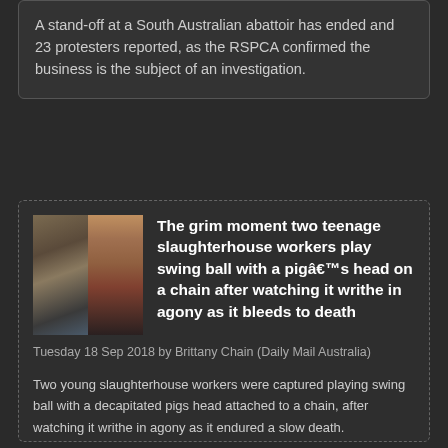A stand-off at a South Australian abattoir has ended and 23 protesters reported, as the RSPCA confirmed the business is the subject of an investigation.
[Figure (photo): Two-panel image: left panel shows a blurry scene in a slaughterhouse, right panel shows hanging pig carcasses.]
The grim moment two teenage slaughterhouse workers play swing ball with a pigâ€™s head on a chain after watching it writhe in agony as it bleeds to death
Tuesday 18 Sep 2018 by Brittany Chain (Daily Mail Australia)
Two young slaughterhouse workers were captured playing swing ball with a decapitated pigs head attached to a chain, after watching it writhe in agony as it endured a slow death.